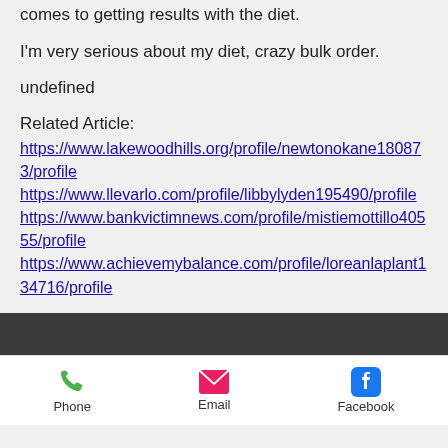comes to getting results with the diet.
I'm very serious about my diet, crazy bulk order.
undefined
Related Article:
https://www.lakewoodhills.org/profile/newtonokane180873/profile
https://www.llevarlo.com/profile/libbylyden195490/profile
https://www.bankvictimnews.com/profile/mistiemottillo40555/profile
https://www.achievemybalance.com/profile/loreanlaplant134716/profile
Phone  Email  Facebook